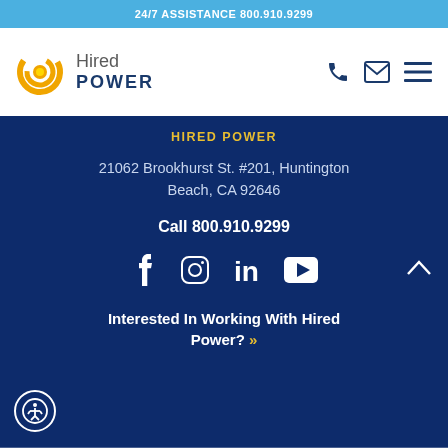24/7 ASSISTANCE 800.910.9299
[Figure (logo): Hired Power logo with circular orange/yellow swirl graphic and company name]
[Figure (infographic): Phone, envelope, and hamburger menu icons in header]
HIRED POWER
21062 Brookhurst St. #201, Huntington Beach, CA 92646
Call 800.910.9299
[Figure (infographic): Social media icons: Facebook, Instagram, LinkedIn, YouTube]
Interested In Working With Hired Power? »